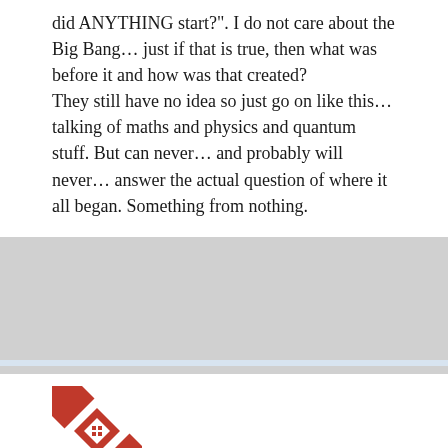did ANYTHING start?". I do not care about the Big Bang… just if that is true, then what was before it and how was that created?
They still have no idea so just go on like this… talking of maths and physics and quantum stuff. But can never… and probably will never… answer the actual question of where it all began. Something from nothing.
[Figure (logo): Red geometric avatar icon with diagonal stripe pattern and small diamond shapes in center]
Daniel Brown | April 13, 2022 at 9:48 pm | Reply